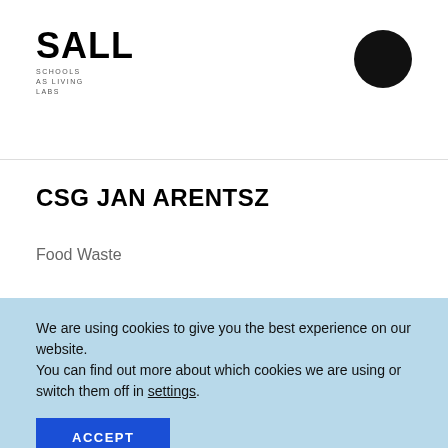SALL SCHOOLS AS LIVING LABS
CSG JAN ARENTSZ
Food Waste
We are using cookies to give you the best experience on our website.
You can find out more about which cookies we are using or switch them off in settings.
ACCEPT